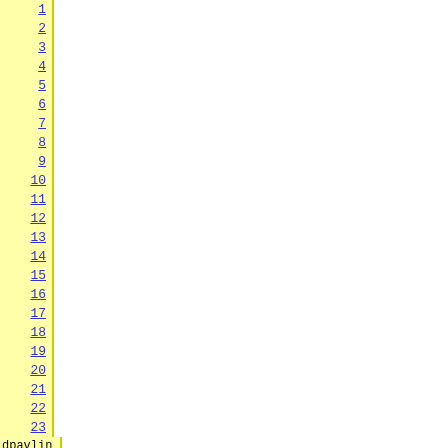Code listing with line numbers, author (dpavlin), revision (20), showing XML isis tag configuration and format function documentation including upper, upper_w, and substr functions.